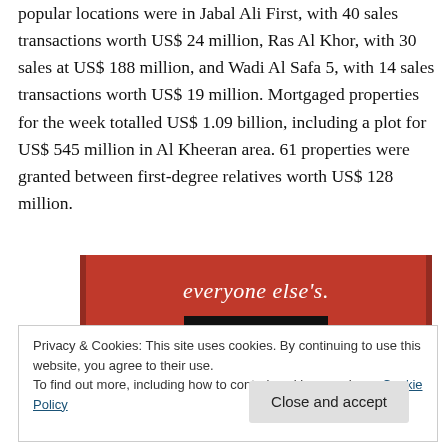popular locations were in Jabal Ali First, with 40 sales transactions worth US$ 24 million, Ras Al Khor, with 30 sales at US$ 188 million, and Wadi Al Safa 5, with 14 sales transactions worth US$ 19 million. Mortgaged properties for the week totalled US$ 1.09 billion, including a plot for US$ 545 million in Al Kheeran area. 61 properties were granted between first-degree relatives worth US$ 128 million.
[Figure (other): Advertisement banner with red background showing text 'everyone else's.' and a 'Start reading' button in black]
Privacy & Cookies: This site uses cookies. By continuing to use this website, you agree to their use.
To find out more, including how to control cookies, see here: Cookie Policy